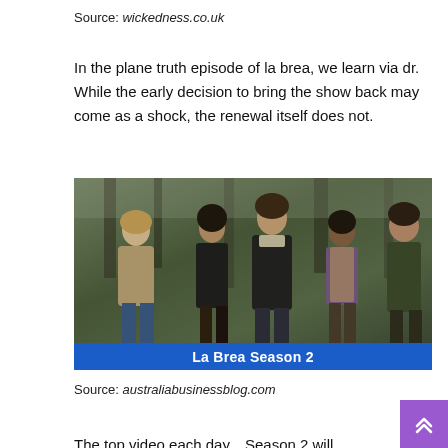Source: wickedness.co.uk
In the plane truth episode of la brea, we learn via dr. While the early decision to bring the show back may come as a shock, the renewal itself does not.
[Figure (photo): Group of five people (actors from La Brea Season 2) standing in a forest-like setting, looking upward. Below the photo is a blue banner reading 'La Brea Season 2' in white bold text.]
Source: australiabusinessblog.com
The top video each day...Season 2 will...